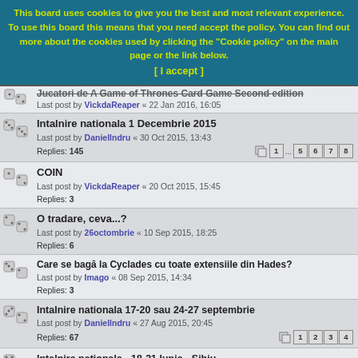This board uses cookies to give you the best and most relevant experience. To use this board this means that you need accept the policy. You can find out more about the cookies used by clicking the "Cookie policy" on the main page or the link below. [ I accept ]
Jucatori de A Game of Thrones Card Game Second edition — Last post by VickdaReaper « 22 Jan 2016, 16:05 — Replies: 2
Intalnire nationala 1 Decembrie 2015 — Last post by DanielIndru « 30 Oct 2015, 13:43 — Replies: 145 — Pages: 1 ... 5 6 7 8
COIN — Last post by VickdaReaper « 20 Oct 2015, 15:45 — Replies: 3
O tradare, ceva...? — Last post by 26octombrie « 10 Sep 2015, 18:25 — Replies: 6
Care se bagă la Cyclades cu toate extensiile din Hades? — Last post by Imago « 08 Sep 2015, 14:34 — Replies: 3
Intalnire nationala 17-20 sau 24-27 septembrie — Last post by DanielIndru « 27 Aug 2015, 20:45 — Replies: 67 — Pages: 1 2 3 4
Intalnire nationala - 18-21 Iunie - Sibiu — Last post by CostyBGB « 20 Jul 2015, 23:41 — Replies: 180 — Pages: 1 ... 7 8 9 10